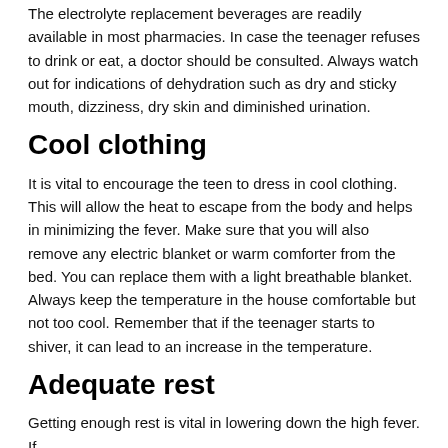The electrolyte replacement beverages are readily available in most pharmacies. In case the teenager refuses to drink or eat, a doctor should be consulted. Always watch out for indications of dehydration such as dry and sticky mouth, dizziness, dry skin and diminished urination.
Cool clothing
It is vital to encourage the teen to dress in cool clothing. This will allow the heat to escape from the body and helps in minimizing the fever. Make sure that you will also remove any electric blanket or warm comforter from the bed. You can replace them with a light breathable blanket. Always keep the temperature in the house comfortable but not too cool. Remember that if the teenager starts to shiver, it can lead to an increase in the temperature.
Adequate rest
Getting enough rest is vital in lowering down the high fever. If